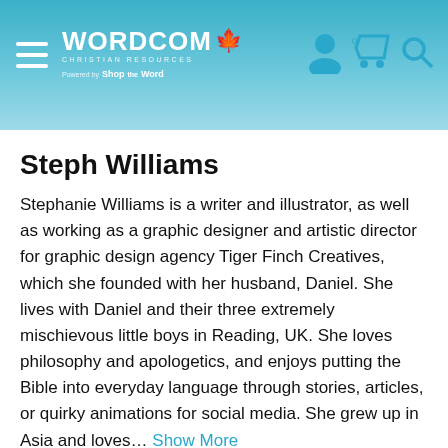WORDCOM Christian Resources — Powered by ShopTheWord
Steph Williams
Stephanie Williams is a writer and illustrator, as well as working as a graphic designer and artistic director for graphic design agency Tiger Finch Creatives, which she founded with her husband, Daniel. She lives with Daniel and their three extremely mischievous little boys in Reading, UK. She loves philosophy and apologetics, and enjoys putting the Bible into everyday language through stories, articles, or quirky animations for social media. She grew up in Asia and loves… Show More